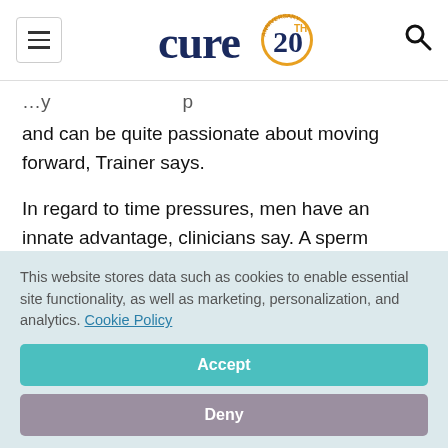CURE 20th Anniversary
and can be quite passionate about moving forward, Trainer says.
In regard to time pressures, men have an innate advantage, clinicians say. A sperm donation doesn't require preparation and potentially many vials can be stored prior to treatment. For women, two to four
This website stores data such as cookies to enable essential site functionality, as well as marketing, personalization, and analytics. Cookie Policy
Accept
Deny